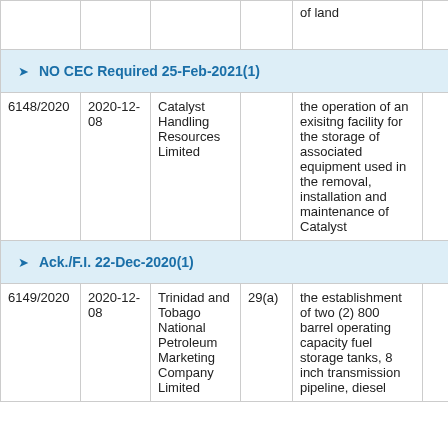|  |  |  |  |  |  |
| --- | --- | --- | --- | --- | --- |
|  |  |  |  | of land |  |
| NO CEC Required 25-Feb-2021(1) |  |  |  |  |  |
| 6148/2020 | 2020-12-08 | Catalyst Handling Resources Limited |  | the operation of an exisitng facility for the storage of associated equipment used in the removal, installation and maintenance of Catalyst |  |
| Ack./F.I. 22-Dec-2020(1) |  |  |  |  |  |
| 6149/2020 | 2020-12-08 | Trinidad and Tobago National Petroleum Marketing Company Limited | 29(a) | the establishment of two (2) 800 barrel operating capacity fuel storage tanks, 8 inch transmission pipeline, diesel |  |